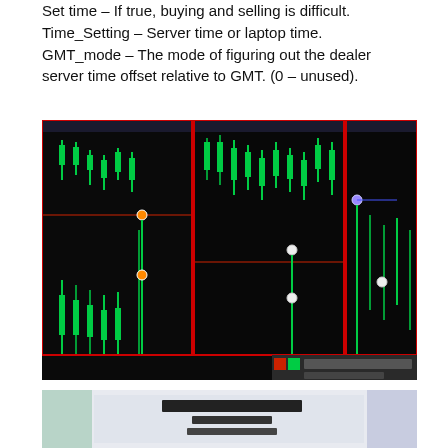Set time – If true, buying and selling is difficult.
Time_Setting – Server time or laptop time.
GMT_mode – The mode of figuring out the dealer server time offset relative to GMT. (0 – unused).
[Figure (screenshot): Trading chart screenshot showing multiple panels with black background and green candlestick price data, red vertical divider lines, horizontal red lines, and colored dot markers (orange/white circles) indicating trade entry or exit points across three chart panels.]
[Figure (screenshot): Partially visible trading report or summary table at the bottom of the page, with text 'Strategy Tester Report' and some blurred numerical data.]